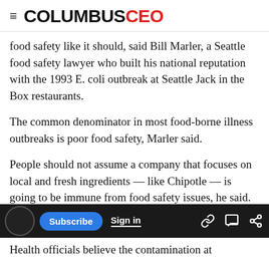COLUMBUSCEO
food safety like it should, said Bill Marler, a Seattle food safety lawyer who built his national reputation with the 1993 E. coli outbreak at Seattle Jack in the Box restaurants.
The common denominator in most food-borne illness outbreaks is poor food safety, Marler said.
People should not assume a company that focuses on local and fresh ingredients — like Chipotle — is going to be immune from food safety issues, he said.
"People shouldn't have a false sense of security
Health officials believe the contamination at